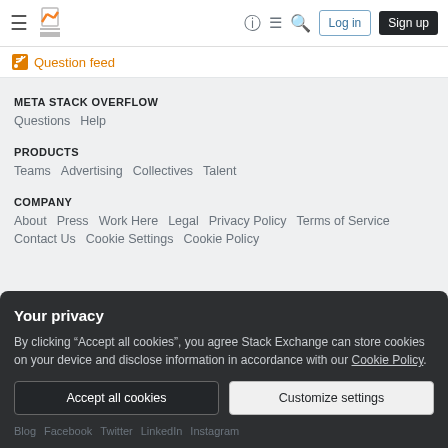Stack Overflow navigation bar with hamburger menu, logo, help, chat, search icons, Log in and Sign up buttons
Question feed
META STACK OVERFLOW
Questions   Help
PRODUCTS
Teams   Advertising   Collectives   Talent
COMPANY
About   Press   Work Here   Legal   Privacy Policy   Terms of Service
Contact Us   Cookie Settings   Cookie Policy
Your privacy
By clicking "Accept all cookies", you agree Stack Exchange can store cookies on your device and disclose information in accordance with our Cookie Policy.
Accept all cookies   Customize settings
Blog   Facebook   Twitter   LinkedIn   Instagram